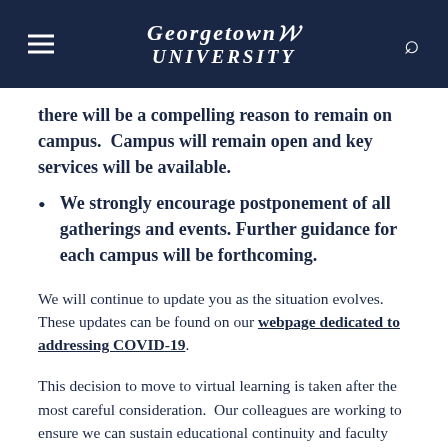Georgetown University
there will be a compelling reason to remain on campus.  Campus will remain open and key services will be available.
We strongly encourage postponement of all gatherings and events. Further guidance for each campus will be forthcoming.
We will continue to update you as the situation evolves. These updates can be found on our webpage dedicated to addressing COVID-19.
This decision to move to virtual learning is taken after the most careful consideration.  Our colleagues are working to ensure we can sustain educational continuity and faculty and students will be receiving guidance on